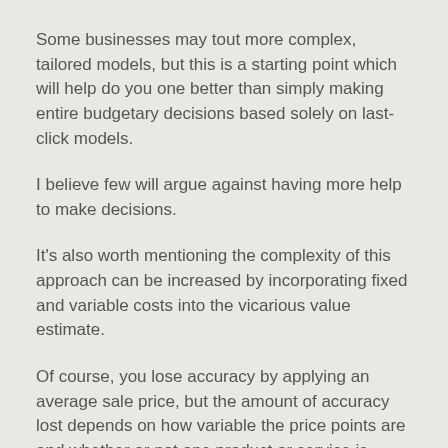Some businesses may tout more complex, tailored models, but this is a starting point which will help do you one better than simply making entire budgetary decisions based solely on last-click models.
I believe few will argue against having more help to make decisions.
It's also worth mentioning the complexity of this approach can be increased by incorporating fixed and variable costs into the vicarious value estimate.
Of course, you lose accuracy by applying an average sale price, but the amount of accuracy lost depends on how variable the price points are and whether or not one product or service is purchased significantly more than others.